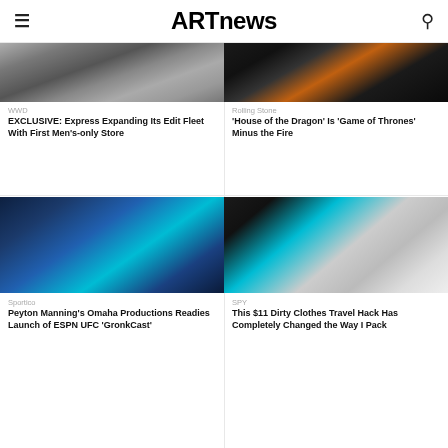ARTnews
[Figure (photo): Storefront exterior photo for WWD article]
WWD
EXCLUSIVE: Express Expanding Its Edit Fleet With First Men's-only Store
[Figure (photo): Dark scene with fire/glow for Rolling Stone article about House of the Dragon]
Rolling Stone
'House of the Dragon' Is 'Game of Thrones' Minus the Fire
[Figure (photo): Peyton Manning in a blue suit on stage with teal background for Sportico article]
Sportico
Peyton Manning's Omaha Productions Readies Launch of ESPN UFC 'GronkCast'
[Figure (photo): Black and teal drawstring laundry bags with 'wash me' text and smiley faces for SPY article]
SPY
This $11 Dirty Clothes Travel Hack Has Completely Changed the Way I Pack